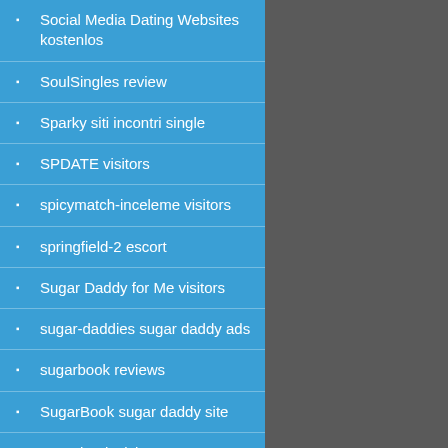Social Media Dating Websites kostenlos
SoulSingles review
Sparky siti incontri single
SPDATE visitors
spicymatch-inceleme visitors
springfield-2 escort
Sugar Daddy for Me visitors
sugar-daddies sugar daddy ads
sugarbook reviews
SugarBook sugar daddy site
Sugarbook visitors